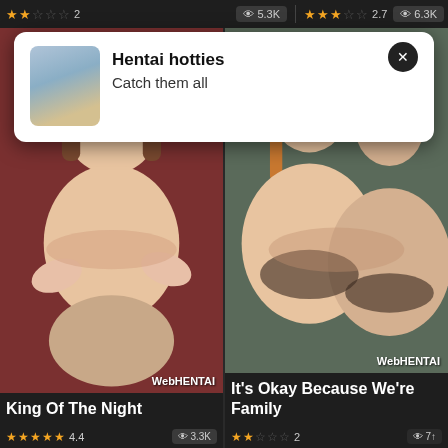★★☆☆☆ 2  👁 5.3K  ★★★☆☆ 2.7  👁 6.3K
[Figure (screenshot): Popup notification banner with anime thumbnail, title 'Hentai hotties', subtitle 'Catch them all', and a close button]
Hentai hotties
Catch them all
[Figure (illustration): Anime illustration - left card showing a kneeling female character with WebHENTAI watermark]
King Of The Night
★★★★½ 4.4  👁 3.3K
[Figure (illustration): Anime illustration - right card showing two female characters with WebHENTAI watermark]
It's Okay Because We're Family
★★☆☆☆ 2  👁 71